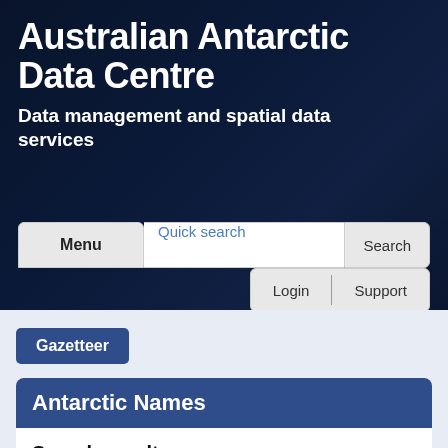Australian Antarctic Data Centre
Data management and spatial data services
[Figure (screenshot): Navigation bar with Menu button, Quick search input field, Search button, Login and Support links]
Gazetteer
Antarctic Names
Search results
Place Names within 1.0 degrees of Tumbledown Cliffs (Latitude 64° 05.0' S Longitude 58° 27.0'